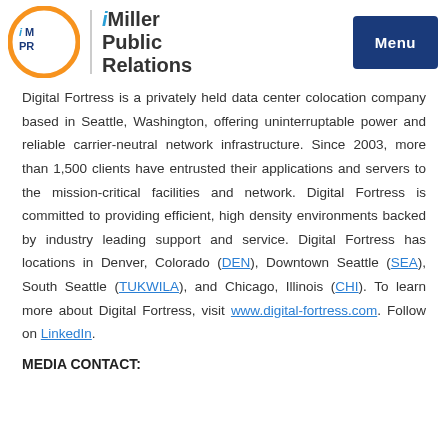[Figure (logo): iMPR iMiller Public Relations logo with orange circle and blue/gray text, plus a blue 'Menu' button in the top right]
Digital Fortress is a privately held data center colocation company based in Seattle, Washington, offering uninterruptable power and reliable carrier-neutral network infrastructure. Since 2003, more than 1,500 clients have entrusted their applications and servers to the mission-critical facilities and network. Digital Fortress is committed to providing efficient, high density environments backed by industry leading support and service. Digital Fortress has locations in Denver, Colorado (DEN), Downtown Seattle (SEA), South Seattle (TUKWILA), and Chicago, Illinois (CHI). To learn more about Digital Fortress, visit www.digital-fortress.com. Follow on LinkedIn.
MEDIA CONTACT: